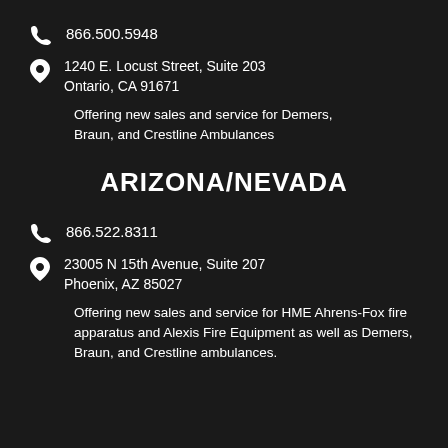866.500.5948
1240 E. Locust Street, Suite 203
Ontario, CA 91671
Offering new sales and service for Demers, Braun, and Crestline Ambulances
ARIZONA/NEVADA
866.522.8311
23005 N 15th Avenue, Suite 207
Phoenix, AZ 85027
Offering new sales and service for HME Ahrens-Fox fire apparatus and Alexis Fire Equipment as well as Demers, Braun, and Crestline ambulances.